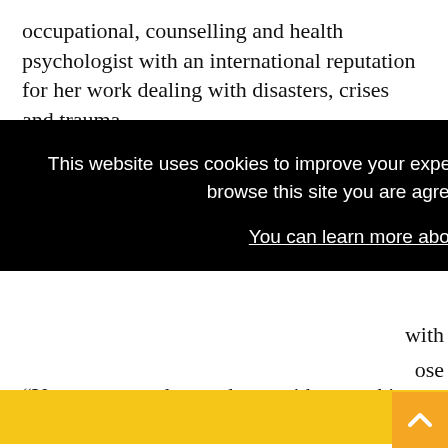occupational, counselling and health psychologist with an international reputation for her work dealing with disasters, crises and trauma.
She argues that occupational health professionals (OHPs) can play a vital role in raising awareness of the existence of secondary trauma, both in those employed
This website uses cookies to improve your experience and for ads personalisation. By continuing to browse this site you are agreeing to our use of these cookies. You can learn more about the cookies we use here.
OK
“You cannot understand text without making it real, and